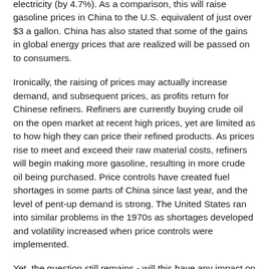electricity (by 4.7%). As a comparison, this will raise gasoline prices in China to the U.S. equivalent of just over $3 a gallon. China has also stated that some of the gains in global energy prices that are realized will be passed on to consumers.
Ironically, the raising of prices may actually increase demand, and subsequent prices, as profits return for Chinese refiners. Refiners are currently buying crude oil on the open market at recent high prices, yet are limited as to how high they can price their refined products. As prices rise to meet and exceed their raw material costs, refiners will begin making more gasoline, resulting in more crude oil being purchased. Price controls have created fuel shortages in some parts of China since last year, and the level of pent-up demand is strong. The United States ran into similar problems in the 1970s as shortages developed and volatility increased when price controls were implemented.
Yet, the question still remains - will this have any impact on the global price of energy? Probably little, unless more countries follow suit. China currently consumes about 10% of all global oil. Significant changes in China...